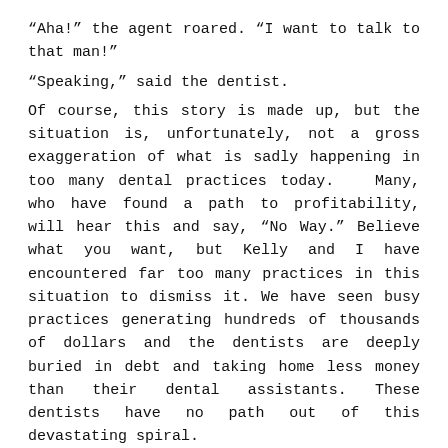“Aha!” the agent roared. “I want to talk to that man!”
“Speaking,” said the dentist.
Of course, this story is made up, but the situation is, unfortunately, not a gross exaggeration of what is sadly happening in too many dental practices today.  Many, who have found a path to profitability, will hear this and say, “No Way.” Believe what you want, but Kelly and I have encountered far too many practices in this situation to dismiss it. We have seen busy practices generating hundreds of thousands of dollars and the dentists are deeply buried in debt and taking home less money than their dental assistants. These dentists have no path out of this devastating spiral.
Craig Presti, a dental marketing guru, in 2018 published an article naming that year as “the year of Dentists declaring bankruptcy”. In 2019 he published a book titled “The Dental Apocolypse Survival Guide”. This was certainly not very encouraging.
Recently I had the opportunity to see the new movie revival of the hit Broadway musical, “Dear Evan Hansen.” It is about a socially